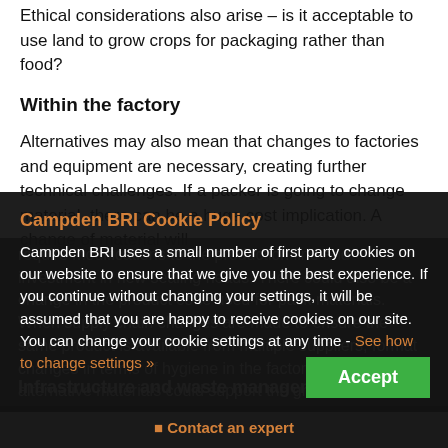Ethical considerations also arise – is it acceptable to use land to grow crops for packaging rather than food?
Within the factory
Alternatives may also mean that changes to factories and equipment are necessary, creating further technical challenges. If a packer is going to change material, there can be a huge cost implication. A change of material will require modifications to the production line and investment in new sealing heads. There could also be a change in the product code used for pack materials. When supply chain changes are made to ensure the same product is available from multiple suppliers, format changes in terms of hygiene in the factory and whether alternative materials could support the growth of microorganisms.
Infrastructure and waste management
[Figure (screenshot): Cookie policy overlay banner from Campden BRI website with title 'Campden BRI Cookie Policy', body text about cookies, and green Accept button]
[Figure (screenshot): Contact an expert button/bar at bottom of page]